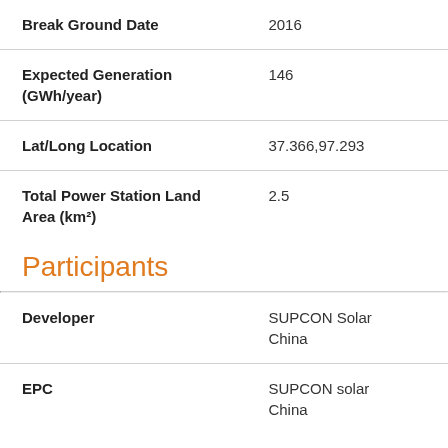| Break Ground Date | 2016 |
| Expected Generation (GWh/year) | 146 |
| Lat/Long Location | 37.366,97.293 |
| Total Power Station Land Area (km²) | 2.5 |
Participants
| Developer | SUPCON Solar China |
| EPC | SUPCON solar China |